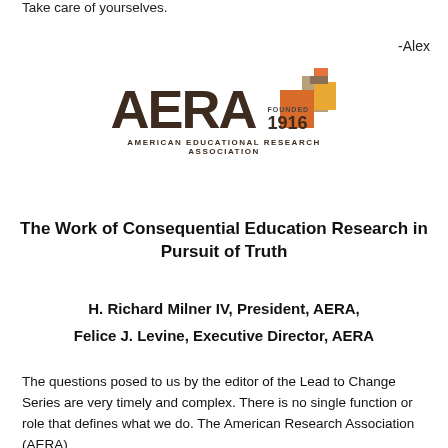Take care of yourselves.
-Alex
[Figure (logo): AERA (American Educational Research Association) logo with colorful geometric squares/blocks in orange, tan, and gold, founded 1916]
The Work of Consequential Education Research in Pursuit of Truth
H. Richard Milner IV, President, AERA,

Felice J. Levine, Executive Director, AERA
The questions posed to us by the editor of the Lead to Change Series are very timely and complex. There is no single function or role that defines what we do. The American Research Association (AERA)